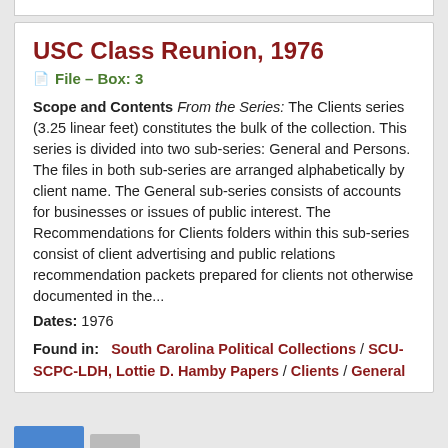USC Class Reunion, 1976
File – Box: 3
Scope and Contents From the Series: The Clients series (3.25 linear feet) constitutes the bulk of the collection. This series is divided into two sub-series: General and Persons. The files in both sub-series are arranged alphabetically by client name. The General sub-series consists of accounts for businesses or issues of public interest. The Recommendations for Clients folders within this sub-series consist of client advertising and public relations recommendation packets prepared for clients not otherwise documented in the...
Dates: 1976
Found in: South Carolina Political Collections / SCU-SCPC-LDH, Lottie D. Hamby Papers / Clients / General